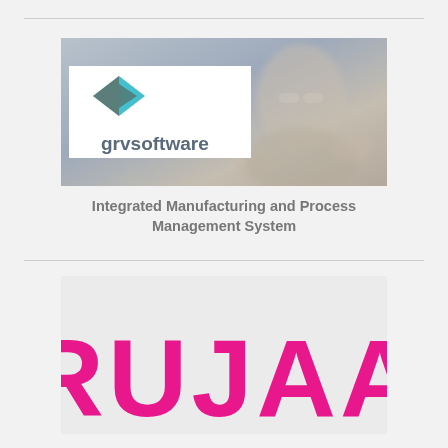[Figure (logo): grvsoftware logo overlaid on a blurry industrial photo of a person wearing safety glasses]
Integrated Manufacturing and Process Management System
[Figure (logo): RUJAA logo in large pink/magenta bold letters]